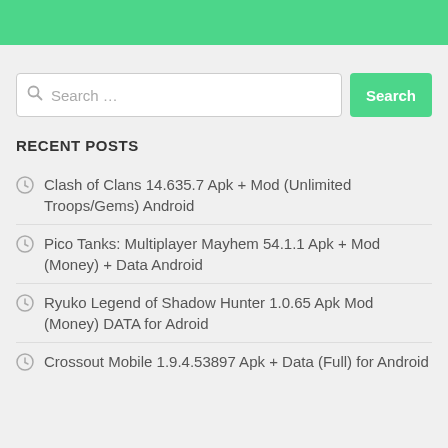Search …
RECENT POSTS
Clash of Clans 14.635.7 Apk + Mod (Unlimited Troops/Gems) Android
Pico Tanks: Multiplayer Mayhem 54.1.1 Apk + Mod (Money) + Data Android
Ryuko Legend of Shadow Hunter 1.0.65 Apk Mod (Money) DATA for Adroid
Crossout Mobile 1.9.4.53897 Apk + Data (Full) for Android